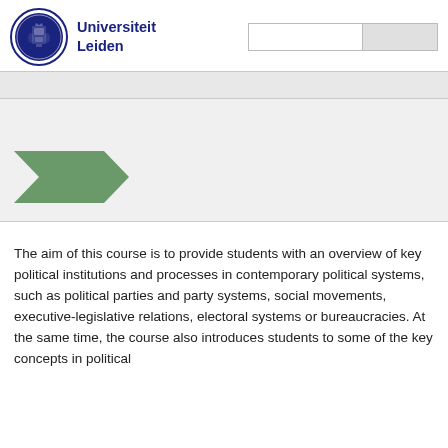[Figure (logo): Universiteit Leiden circular seal/crest logo in navy blue]
Universiteit Leiden
[Figure (screenshot): Search box and search button in the header navigation area]
[Figure (infographic): Green arrow/chevron shape pointing right, used as a navigation or category marker in the hero banner area]
The aim of this course is to provide students with an overview of key political institutions and processes in contemporary political systems, such as political parties and party systems, social movements, executive-legislative relations, electoral systems or bureaucracies. At the same time, the course also introduces students to some of the key concepts in political